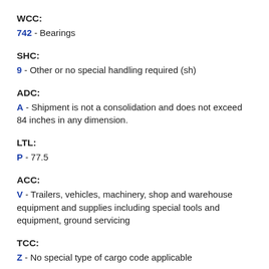WCC:
742 - Bearings
SHC:
9 - Other or no special handling required (sh)
ADC:
A - Shipment is not a consolidation and does not exceed 84 inches in any dimension.
LTL:
P - 77.5
ACC:
V - Trailers, vehicles, machinery, shop and warehouse equipment and supplies including special tools and equipment, ground servicing
TCC:
Z - No special type of cargo code applicable